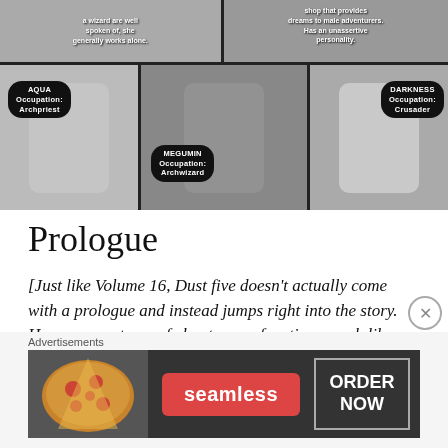[Figure (illustration): Manga-style illustration showing three anime characters labeled: AQUA (Occupation: Archpriest), MEGUMIN (Occupation: Archwizard), and DARKNESS (Occupation: Crusader). Top strip shows partial text about a wizard whose skills are spoken of and who generally works alone, and another character who runs a shop providing dreams to adventurers and has an unassertive personality.]
Prologue
[Just like Volume 16, Dust five doesn't actually come with a prologue and instead jumps right into the story. However, part one of chapter one functions much like a
Advertisements
[Figure (other): Seamless food delivery advertisement banner showing pizza image on left, red Seamless logo in center, and ORDER NOW button on right.]